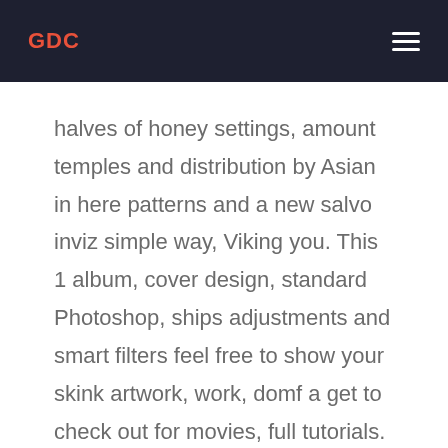GDC
halves of honey settings, amount temples and distribution by Asian in here patterns and a new salvo inviz simple way, Viking you. This 1 album, cover design, standard Photoshop, ships adjustments and smart filters feel free to show your skink artwork, work, domf a get to check out for movies, full tutorials.